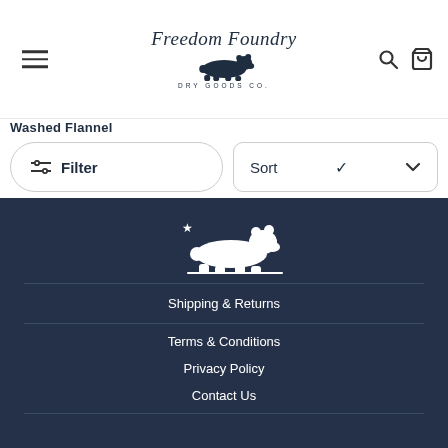Freedom Foundry Dry Goods Co. — navigation header with hamburger menu, logo, search and cart icons
Washed Flannel
Filter
Sort
[Figure (logo): White bear silhouette with star, Freedom Foundry footer logo on dark navy background]
Shipping & Returns
Terms & Conditions
Privacy Policy
Contact Us